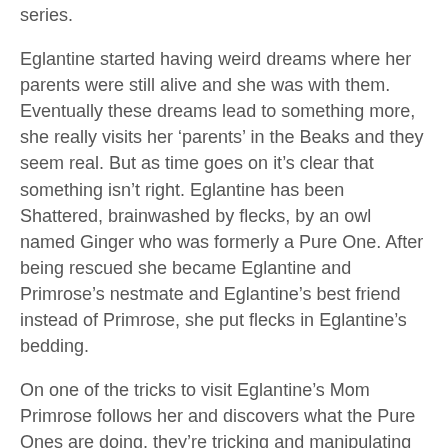series.
Eglantine started having weird dreams where her parents were still alive and she was with them. Eventually these dreams lead to something more, she really visits her 'parents' in the Beaks and they seem real. But as time goes on it's clear that something isn't right. Eglantine has been Shattered, brainwashed by flecks, by an owl named Ginger who was formerly a Pure One. After being rescued she became Eglantine and Primrose's nestmate and Eglantine's best friend instead of Primrose, she put flecks in Eglantine's bedding.
On one of the tricks to visit Eglantine's Mom Primrose follows her and discovers what the Pure Ones are doing, they're tricking and manipulating her for information from the Great Tree but she's captured before she can do anything. However, she was able to use her brain and a small bit of amber to remove the